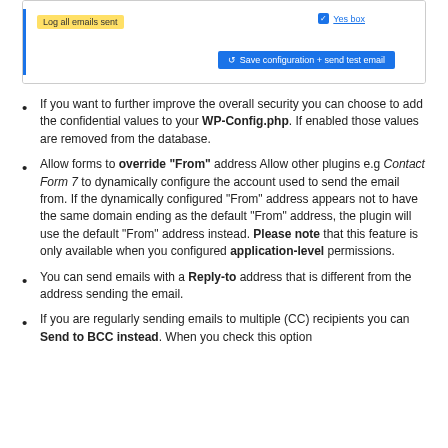[Figure (screenshot): Screenshot of a WordPress plugin settings UI showing a highlighted label 'Log all emails sent', a checked checkbox labeled 'Yes box', and a blue 'Save configuration + send test email' button.]
If you want to further improve the overall security you can choose to add the confidential values to your WP-Config.php. If enabled those values are removed from the database.
Allow forms to override "From" address Allow other plugins e.g Contact Form 7 to dynamically configure the account used to send the email from. If the dynamically configured "From" address appears not to have the same domain ending as the default "From" address, the plugin will use the default "From" address instead. Please note that this feature is only available when you configured application-level permissions.
You can send emails with a Reply-to address that is different from the address sending the email.
If you are regularly sending emails to multiple (CC) recipients you can Send to BCC instead. When you check this option